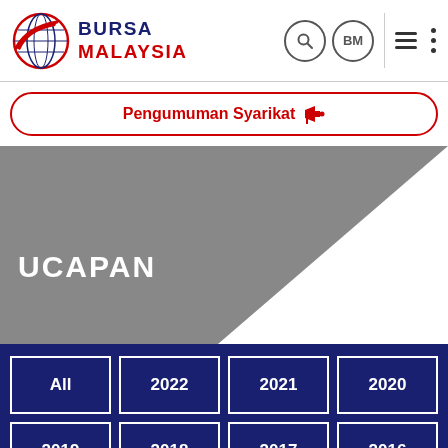[Figure (logo): Bursa Malaysia logo with globe icon and red/dark blue text]
Pengumuman Syarikat 📢
UCAPAN
All 2022 2021 2020 2019 2018 2017 2016